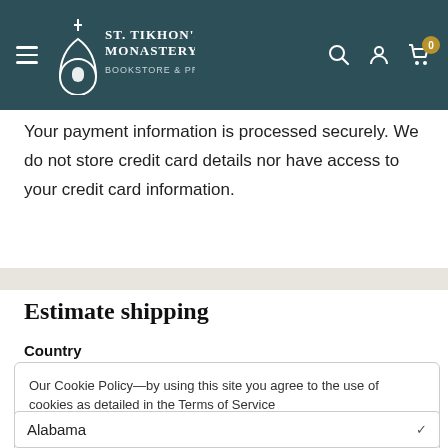St. Tikhon's Monastery Bookstore & Press
Your payment information is processed securely. We do not store credit card details nor have access to your credit card information.
Estimate shipping
Country
Our Cookie Policy—by using this site you agree to the use of cookies as detailed in the Terms of Service
Accept
Alabama